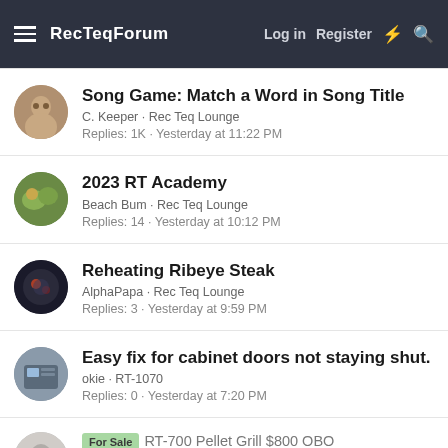RecTeqForum | Log in | Register
Song Game: Match a Word in Song Title | C. Keeper · Rec Teq Lounge | Replies: 1K · Yesterday at 11:22 PM
2023 RT Academy | Beach Bum · Rec Teq Lounge | Replies: 14 · Yesterday at 10:12 PM
Reheating Ribeye Steak | AlphaPapa · Rec Teq Lounge | Replies: 3 · Yesterday at 9:59 PM
Easy fix for cabinet doors not staying shut. | okie · RT-1070 | Replies: 0 · Yesterday at 7:20 PM
For Sale RT-700 Pellet Grill $800 OBO | Aceof89 · Classifieds